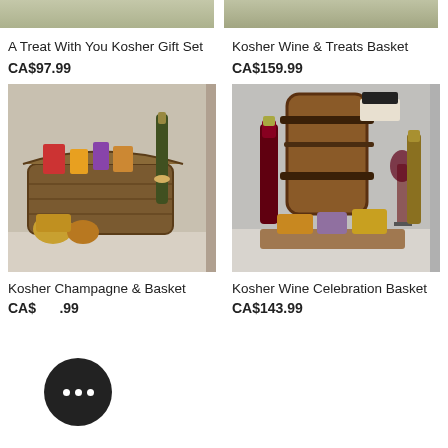[Figure (photo): Top portion of a Kosher gift set product photo (cropped at top)]
[Figure (photo): Top portion of a Kosher Wine & Treats Basket product photo (cropped at top)]
A Treat With You Kosher Gift Set
CA$97.99
Kosher Wine & Treats Basket
CA$159.99
[Figure (photo): Wicker basket filled with various kosher food items and a champagne bottle]
[Figure (photo): Wooden barrel with kosher wine bottles and snacks arranged on a wooden board]
Kosher Champagne & Basket
CA$161.99
Kosher Wine Celebration Basket
CA$143.99